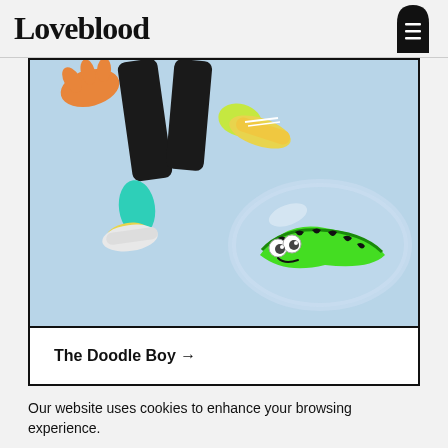Loveblood
[Figure (logo): Tombstone/arch shaped menu icon in black]
[Figure (photo): A person jumping in sneakers with colorful socks against a light blue sky background, and a green cartoon worm character shaped like a Nike swoosh with eyes, inside a transparent bubble]
The Doodle Boy →
Our website uses cookies to enhance your browsing experience.
Okay!
No, thanks!